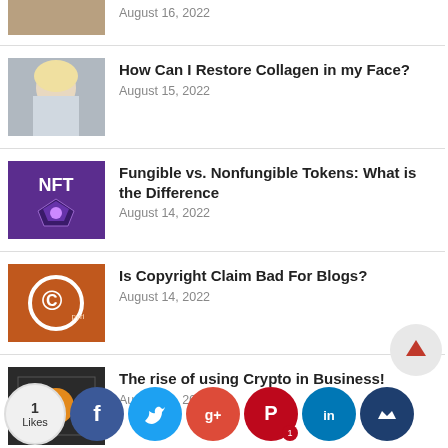August 16, 2022
How Can I Restore Collagen in my Face? | August 15, 2022
Fungible vs. Nonfungible Tokens: What is the Difference | August 14, 2022
Is Copyright Claim Bad For Blogs? | August 14, 2022
The rise of using Crypto in Business! | August 14, 2022
Different Types of Paper Bags: With or Without Handles